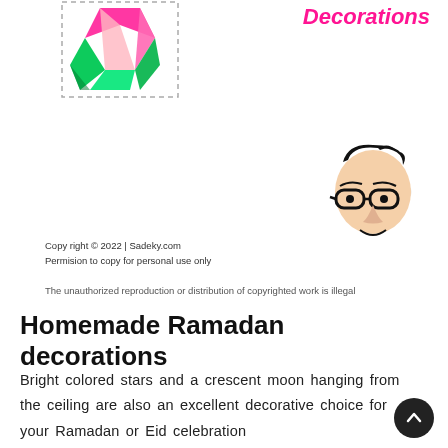Decorations
[Figure (illustration): Colorful gem/crystal illustration with pink and green facets, shown with a dashed border outline, positioned top left]
[Figure (illustration): Black and white cartoon face of a man with glasses and styled hair, positioned top right area]
Copy right © 2022 | Sadeky.com
Permision to copy for personal use only
The unauthorized reproduction or distribution of copyrighted work is illegal
Homemade Ramadan decorations
Bright colored stars and a crescent moon hanging from the ceiling are also an excellent decorative choice for your Ramadan or Eid celebration